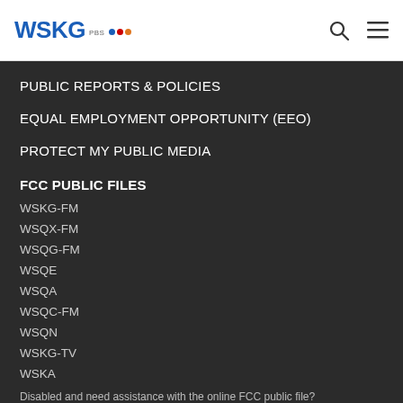WSKG PBS NPR
PUBLIC REPORTS & POLICIES
EQUAL EMPLOYMENT OPPORTUNITY (EEO)
PROTECT MY PUBLIC MEDIA
FCC PUBLIC FILES
WSKG-FM
WSQX-FM
WSQG-FM
WSQE
WSQA
WSQC-FM
WSQN
WSKG-TV
WSKA
Disabled and need assistance with the online FCC public file?